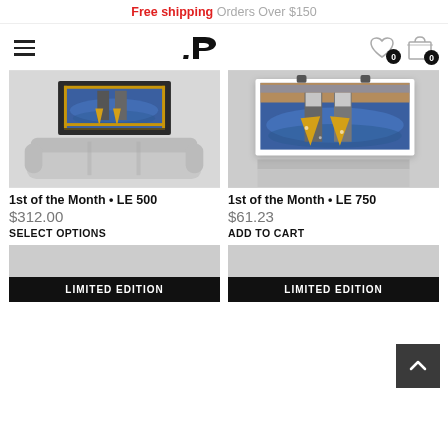Free shipping Orders Over $150
[Figure (logo): Navigation bar with hamburger menu, stylized P logo, heart wishlist icon with badge 0, and shopping bag icon with badge 0]
[Figure (photo): Product image: painting of two figures wading in water holding golden items, shown framed on wall above white chesterfield sofa (1st of the Month LE 500)]
[Figure (photo): Product image: close-up painting of two figures wading in water holding golden items, shown as canvas print mounted on clips (1st of the Month LE 750)]
1st of the Month • LE 500
$312.00
SELECT OPTIONS
1st of the Month • LE 750
$61.23
ADD TO CART
[Figure (photo): Partial product card bottom with LIMITED EDITION badge (left)]
[Figure (photo): Partial product card bottom with LIMITED EDITION badge (right)]